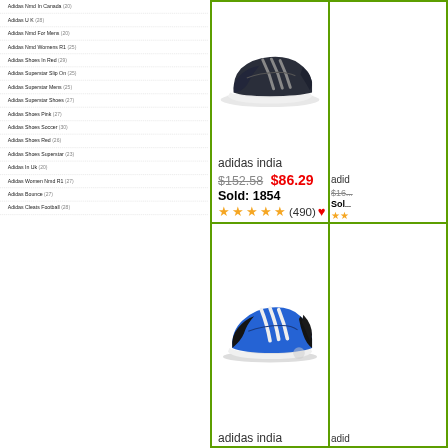Adidas Nmd In Canada (20)
Adidas U K (28)
Adidas Nmd For Mens (20)
Adidas Nmd Womens R1 (25)
Adidas Shoes In Red (29)
Adidas Superstar Slip On (25)
Adidas Superstar Mens (25)
Adidas Superstar Shoes (27)
Adidas Shoes Pink (27)
Adidas Shoes Soccer (30)
Adidas Shoes Red (26)
Adidas Shoes Superstar (23)
Adidas In Uk (20)
Adidas Women Nmd R1 (27)
Adidas Bounce (27)
Adidas Cleats Football (28)
[Figure (photo): Black/dark navy Adidas running shoe on white background, product card with label 'adidas india', price $152.58 crossed out, sale price $86.29 in red, Sold: 1854, 5 stars (490) rating]
[Figure (photo): Blue and black Adidas running shoe on white background, product card with label 'adidas india']
[Figure (photo): Partial product card on right edge, label 'adid', price $16x crossed out, Sold partially visible, star ratings visible]